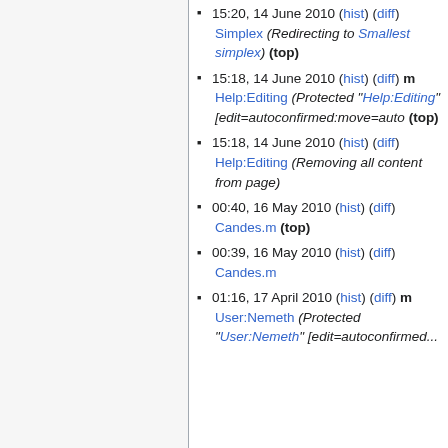15:20, 14 June 2010 (hist) (diff) Simplex (Redirecting to Smallest simplex) (top)
15:18, 14 June 2010 (hist) (diff) m Help:Editing (Protected "Help:Editing" [edit=autoconfirmed:move=auto (top)
15:18, 14 June 2010 (hist) (diff) Help:Editing (Removing all content from page)
00:40, 16 May 2010 (hist) (diff) Candes.m (top)
00:39, 16 May 2010 (hist) (diff) Candes.m
01:16, 17 April 2010 (hist) (diff) m User:Nemeth (Protected "User:Nemeth" [edit=autoconfirmed...